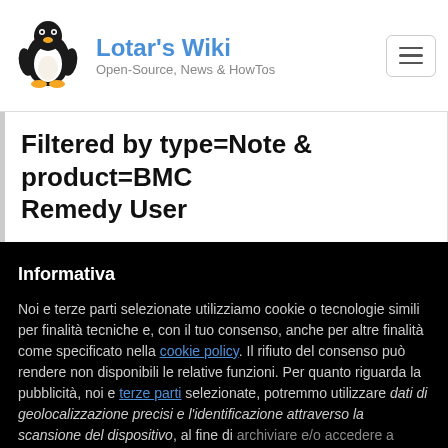Lotar's Wiki — Open-Source, News & HowTos
Filtered by type=Note & product=BMC Remedy User
Informativa
Noi e terze parti selezionate utilizziamo cookie o tecnologie simili per finalità tecniche e, con il tuo consenso, anche per altre finalità come specificato nella cookie policy. Il rifiuto del consenso può rendere non disponibili le relative funzioni. Per quanto riguarda la pubblicità, noi e terze parti selezionate, potremmo utilizzare dati di geolocalizzazione precisi e l'identificazione attraverso la scansione del dispositivo, al fine di archiviare e/o accedere a informazioni su un dispositivo e
Accetta
Scopri di più e personalizza